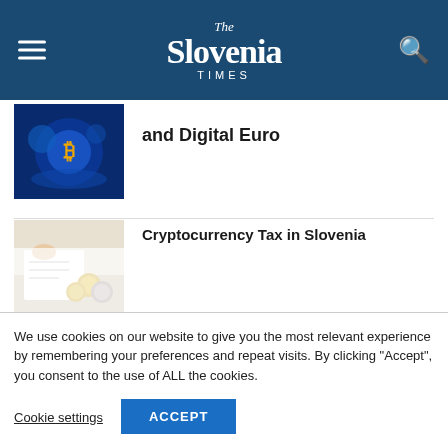The Slovenia Times
[Figure (photo): Partial article thumbnail: glowing blue bitcoin/digital globe illustration]
and Digital Euro
[Figure (photo): Hands with coins and financial documents on a desk]
Cryptocurrency Tax in Slovenia
[Figure (photo): Dark background with glowing network nodes and Slovenian flag]
The Blockchain Industry in Slovenia
We use cookies on our website to give you the most relevant experience by remembering your preferences and repeat visits. By clicking “Accept”, you consent to the use of ALL the cookies.
Cookie settings
ACCEPT